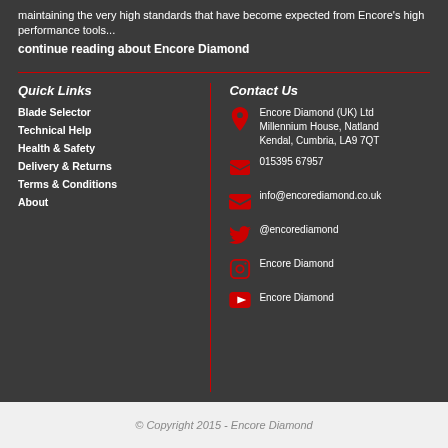maintaining the very high standards that have become expected from Encore's high performance tools... continue reading about Encore Diamond
Quick Links
Blade Selector
Technical Help
Health & Safety
Delivery & Returns
Terms & Conditions
About
Contact Us
Encore Diamond (UK) Ltd Millennium House, Natland Kendal, Cumbria, LA9 7QT
015395 67957
info@encorediamond.co.uk
@encorediamond
Encore Diamond
Encore Diamond
© Copyright 2015 - Encore Diamond